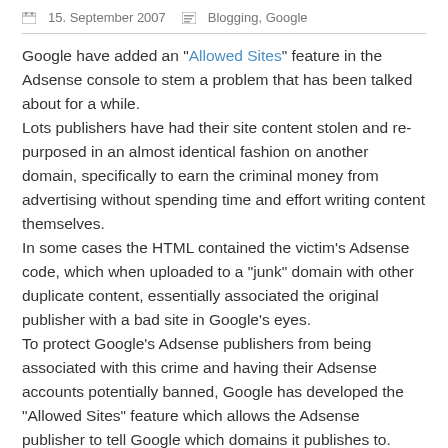15. September 2007   Blogging, Google
Google have added an "Allowed Sites" feature in the Adsense console to stem a problem that has been talked about for a while.
Lots publishers have had their site content stolen and re-purposed in an almost identical fashion on another domain, specifically to earn the criminal money from advertising without spending time and effort writing content themselves.
In some cases the HTML contained the victim's Adsense code, which when uploaded to a "junk" domain with other duplicate content, essentially associated the original publisher with a bad site in Google's eyes.
To protect Google's Adsense publishers from being associated with this crime and having their Adsense accounts potentially banned, Google has developed the "Allowed Sites" feature which allows the Adsense publisher to tell Google which domains it publishes to.